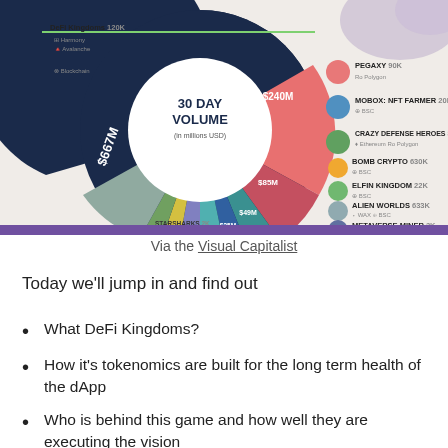[Figure (infographic): Pie/donut chart showing 30 Day Volume in millions USD for various blockchain games. Center reads '30 DAY VOLUME (in millions USD)'. Segments include: Axie Infinity $667M (dark navy, largest), DeFi Kingdoms $240M (salmon/red), $85M, $49M, $35M (teal/blue segments), $25M, $6M, $13M slices. Labels on right: PEGAXY 90K, MOBOX: NFT FARMER 20K, CRAZY DEFENSE HEROES 82K, BOMB CRYPTO 630K, ELFIN KINGDOM 22K, ALIEN WORLDS 633K, METAVERSE MINER 2K, STARSHARKS 2K.]
Via the Visual Capitalist
Today we'll jump in and find out
What DeFi Kingdoms?
How it's tokenomics are built for the long term health of the dApp
Who is behind this game and how well they are executing the vision